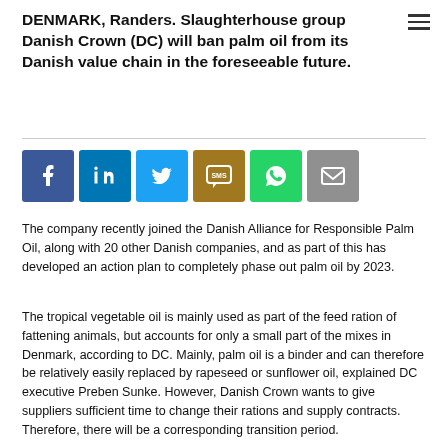DENMARK, Randers. Slaughterhouse group Danish Crown (DC) will ban palm oil from its Danish value chain in the foreseeable future.
[Figure (other): Row of six social media share buttons: Facebook (blue), LinkedIn (blue), Twitter (light blue), SMS (brown/gold), WhatsApp (green), Email (grey)]
The company recently joined the Danish Alliance for Responsible Palm Oil, along with 20 other Danish companies, and as part of this has developed an action plan to completely phase out palm oil by 2023.
The tropical vegetable oil is mainly used as part of the feed ration of fattening animals, but accounts for only a small part of the mixes in Denmark, according to DC. Mainly, palm oil is a binder and can therefore be relatively easily replaced by rapeseed or sunflower oil, explained DC executive Preben Sunke. However, Danish Crown wants to give suppliers sufficient time to change their rations and supply contracts. Therefore, there will be a corresponding transition period.